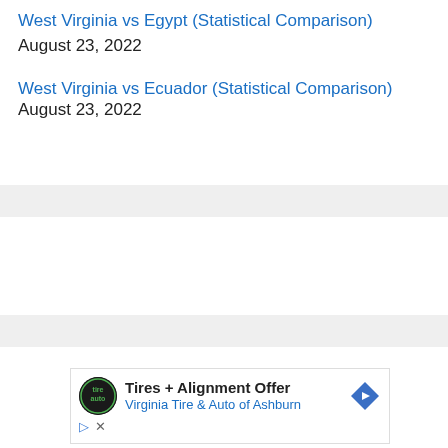West Virginia vs Egypt (Statistical Comparison) August 23, 2022
West Virginia vs Ecuador (Statistical Comparison) August 23, 2022
[Figure (other): Advertisement for Virginia Tire & Auto of Ashburn: Tires + Alignment Offer]